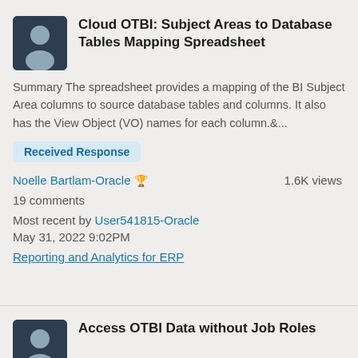Cloud OTBI: Subject Areas to Database Tables Mapping Spreadsheet
Summary The spreadsheet provides a mapping of the BI Subject Area columns to source database tables and columns. It also has the View Object (VO) names for each column.&...
Received Response
Noelle Bartlam-Oracle 🏆   1.6K views
19 comments
Most recent by User541815-Oracle
May 31, 2022 9:02PM
Reporting and Analytics for ERP
Access OTBI Data without Job Roles